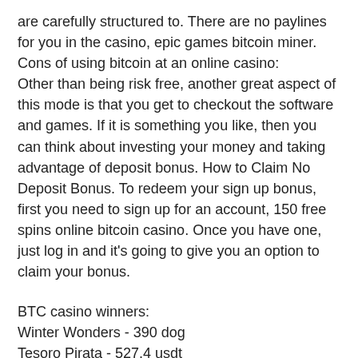are carefully structured to. There are no paylines for you in the casino, epic games bitcoin miner. Cons of using bitcoin at an online casino:
Other than being risk free, another great aspect of this mode is that you get to checkout the software and games. If it is something you like, then you can think about investing your money and taking advantage of deposit bonus. How to Claim No Deposit Bonus. To redeem your sign up bonus, first you need to sign up for an account, 150 free spins online bitcoin casino. Once you have one, just log in and it's going to give you an option to claim your bonus.
BTC casino winners:
Winter Wonders - 390 dog
Tesoro Pirata - 527.4 usdt
Wild Rubies Christmas Edition - 161 btc
Mountain Song Quechua - 20.5 ltc